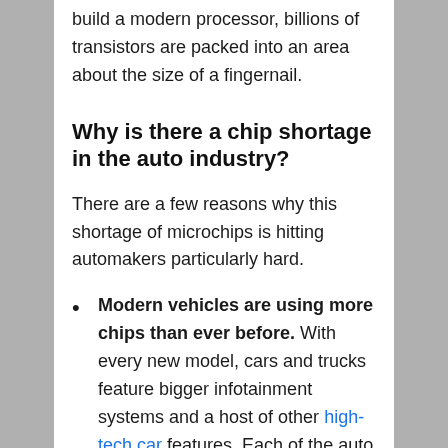build a modern processor, billions of transistors are packed into an area about the size of a fingernail.
Why is there a chip shortage in the auto industry?
There are a few reasons why this shortage of microchips is hitting automakers particularly hard.
Modern vehicles are using more chips than ever before. With every new model, cars and trucks feature bigger infotainment systems and a host of other high-tech car features. Each of the auto industry...